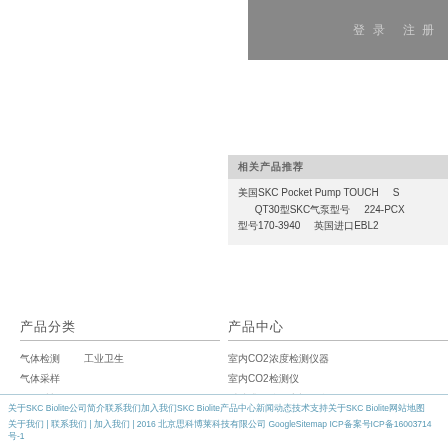登录 注册
相关产品推荐
美国SKC Pocket Pump TOUCH   SKC气泵　QT30型SKC气泵型号　224-PCX系列气泵　型号170-3940　英国进口EBL2
产品分类
气体检测　工业卫生
气体采样
气体采样
气体检测　工业卫生
产品中心
室内CO2浓度检测仪器
室内CO2检测仪
手持式甲烷浓度检测仪
气体检测仪
关于SKC Biolite公司简介联系我们加入我们SKC Biolite产品中心新闻动态技术支持关于SKC Biolite网站地图
关于我们 | 联系我们 | 加入我们 | 2016 北京思科博莱科技有限公司 GoogleSitemap ICP备案号ICP备16003714号-1